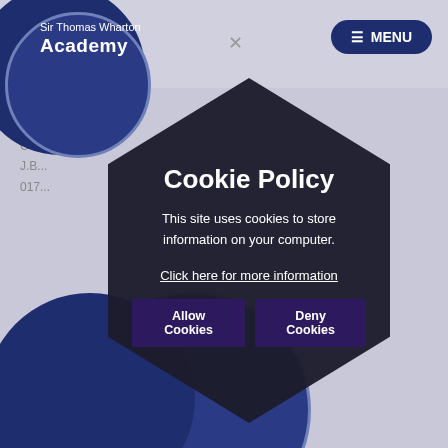Sir Thomas Wharton Academy — MENU
Mrs J Broo
CA...
J.B...
017...
Cookie Policy
This site uses cookies to store information on your computer.
Click here for more information
Allow Cookies   Deny Cookies